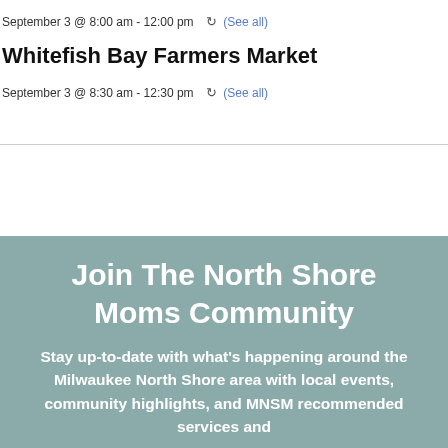September 3 @ 8:00 am - 12:00 pm  ↻ (See all)
Whitefish Bay Farmers Market
September 3 @ 8:30 am - 12:30 pm  ↻ (See all)
Join The North Shore Moms Community
Stay up-to-date with what's happening around the Milwaukee North Shore area with local events, community highlights, and MNSM recommended services and